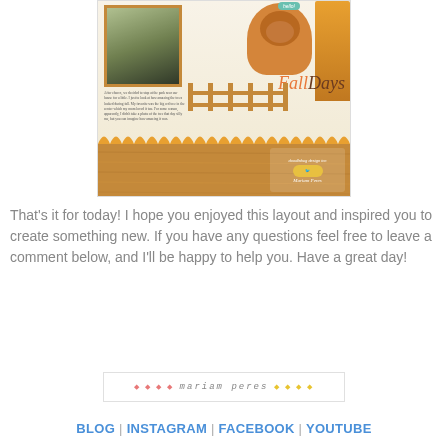[Figure (illustration): Scrapbook layout page featuring a fall theme with a bear illustration, 'Fall Days' text in orange and brown, a photo of someone looking at flowers/trees, journaling text, wooden fence element, orange trees, scalloped border, wood grain strip at bottom, and 'Doodlebug Design Inc / Mariam Peres' logo.]
That's it for today! I hope you enjoyed this layout and inspired you to create something new. If you have any questions feel free to leave a comment below, and I'll be happy to help you. Have a great day!
[Figure (illustration): Decorative signature banner with pink and yellow dots on either side and 'Mariam Peres' text in the center, styled as a blog signature.]
BLOG | INSTAGRAM | FACEBOOK | YOUTUBE